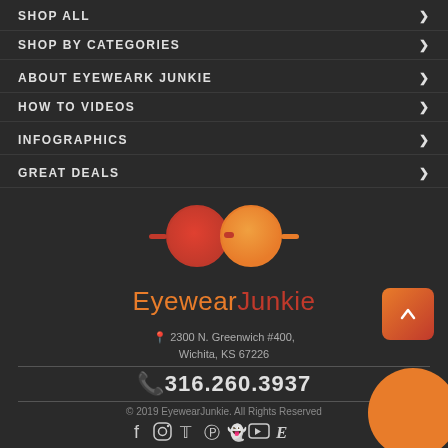SHOP ALL
SHOP BY CATEGORIES
ABOUT EYEWEARK JUNKIE
HOW TO VIDEOS
INFOGRAPHICS
GREAT DEALS
[Figure (logo): EyewearJunkie logo with two circular orange/red gradient lens shapes resembling glasses]
2300 N. Greenwich #400, Wichita, KS 67226
316.260.3937
© 2019 EyewearJunkie. All Rights Reserved
[Figure (infographic): Social media icons: Facebook, Instagram, Twitter, Pinterest, Snapchat, YouTube, Etsy]